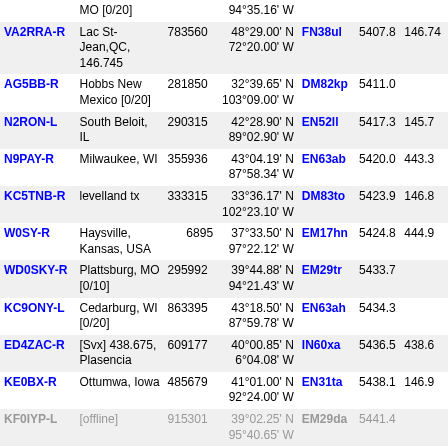| Callsign | Location | ID | Coordinates | Grid | Dist | Freq |
| --- | --- | --- | --- | --- | --- | --- |
|  | MO [0/20] |  | 94°35.16' W |  |  |  |
| VA2RRA-R | Lac St-Jean,QC, 146.745 | 783560 | 48°29.00' N 72°20.00' W | FN38ul | 5407.8 | 146.74 |
| AG5BB-R | Hobbs New Mexico [0/20] | 281850 | 32°39.65' N 103°09.00' W | DM82kp | 5411.0 |  |
| N2RON-L | South Beloit, IL | 290315 | 42°28.90' N 89°02.90' W | EN52ll | 5417.3 | 145.7 |
| N9PAY-R | Milwaukee, WI | 355936 | 43°04.19' N 87°58.34' W | EN63ab | 5420.0 | 443.3 |
| KC5TNB-R | levelland tx | 333315 | 33°36.17' N 102°23.10' W | DM83to | 5423.9 | 146.8 |
| W0SY-R | Haysville, Kansas, USA | 6895 | 37°33.50' N 97°22.12' W | EM17hn | 5424.8 | 444.9 |
| WD0SKY-R | Plattsburg, MO [0/10] | 295992 | 39°44.88' N 94°21.43' W | EM29tr | 5433.7 |  |
| KC9ONY-L | Cedarburg, WI [0/20] | 863395 | 43°18.50' N 87°59.78' W | EN63ah | 5434.3 |  |
| ED4ZAC-R | [Svx] 438.675, Plasencia | 609177 | 40°00.85' N 6°04.08' W | IN60xa | 5436.5 | 438.6 |
| KE0BX-R | Ottumwa, Iowa | 485679 | 41°01.00' N 92°24.00' W | EN31ta | 5438.1 | 146.9 |
| KF0IYP-L | [offline] | 915301 | 39°02.25' N 95°40.65' W | EM29da | 5441.4 |  |
| N0JRD-L | Topeka, KS [0/20] | 506433 | 39°02.76' N 95°40.32' W | EM29db | 5441.6 |  |
| VE2JCT-L | cant ilsa | 164822 | 50°12.52' N | FO69tf | 5442.1 | 146.7 |